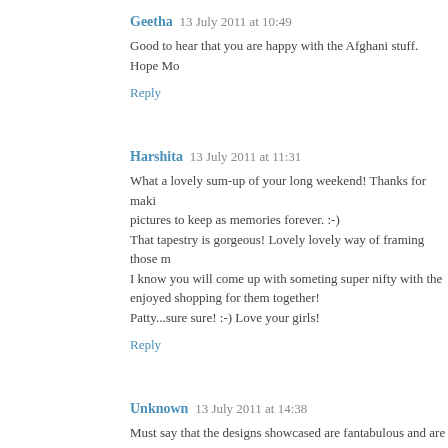Geetha  13 July 2011 at 10:49
Good to hear that you are happy with the Afghani stuff. Hope Mo
Reply
Harshita  13 July 2011 at 11:31
What a lovely sum-up of your long weekend! Thanks for maki pictures to keep as memories forever. :-)
That tapestry is gorgeous! Lovely lovely way of framing those m
I know you will come up with someting super nifty with the enjoyed shopping for them together!
Patty...sure sure! :-) Love your girls!
Reply
Unknown  13 July 2011 at 14:38
Must say that the designs showcased are fantabulous and are re
Online Shopping
Reply
My Inspired Reality  13 July 2011 at 15:53